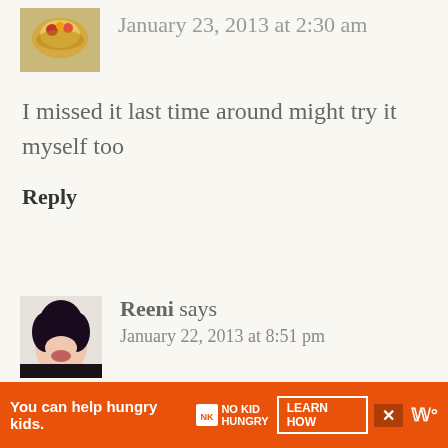[Figure (photo): Small avatar image of food (stuffed pastry/bread) in top left]
January 23, 2013 at 2:30 am
I missed it last time around might try it myself too
Reply
[Figure (photo): Avatar photo of Reeni, a woman with dark hair]
Reeni says
January 22, 2013 at 8:51 pm
That is one gorgeous loaf of bread Faith! Such beautiful texture! If it's passé then we
You can help hungry kids. NO KID HUNGRY LEARN HOW